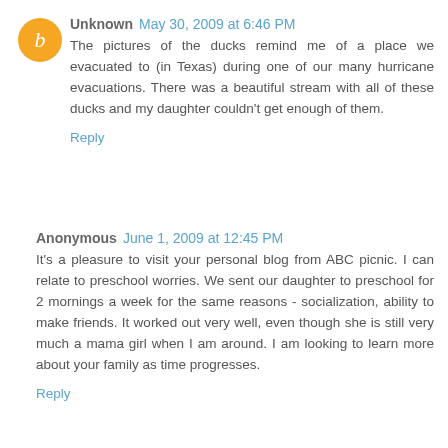Unknown May 30, 2009 at 6:46 PM
The pictures of the ducks remind me of a place we evacuated to (in Texas) during one of our many hurricane evacuations. There was a beautiful stream with all of these ducks and my daughter couldn't get enough of them.
Reply
Anonymous June 1, 2009 at 12:45 PM
It's a pleasure to visit your personal blog from ABC picnic. I can relate to preschool worries. We sent our daughter to preschool for 2 mornings a week for the same reasons - socialization, ability to make friends. It worked out very well, even though she is still very much a mama girl when I am around. I am looking to learn more about your family as time progresses.
Reply